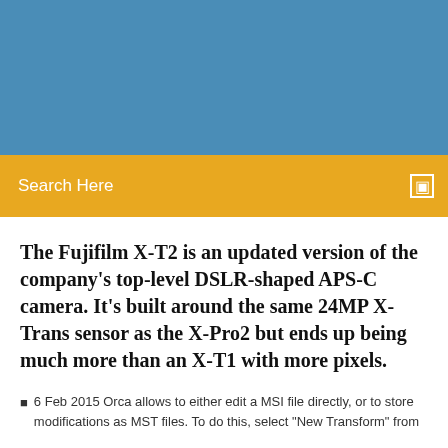[Figure (photo): Blue banner/header image at top of page]
Search Here
The Fujifilm X-T2 is an updated version of the company's top-level DSLR-shaped APS-C camera. It's built around the same 24MP X-Trans sensor as the X-Pro2 but ends up being much more than an X-T1 with more pixels.
6 Feb 2015 Orca allows to either edit a MSI file directly, or to store modifications as MST files. To do this, select "New Transform" from